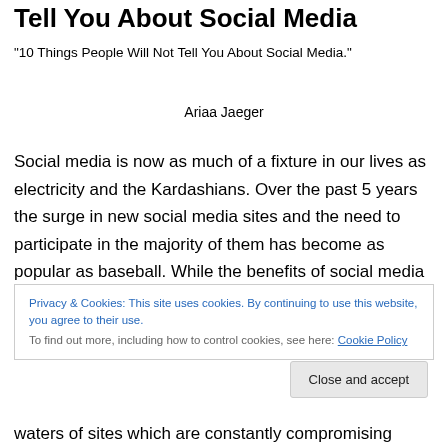Tell You About Social Media
“10 Things People Will Not Tell You About Social Media.”
Ariaa Jaeger
Social media is now as much of a fixture in our lives as electricity and the Kardashians. Over the past 5 years the surge in new social media sites and the need to participate in the majority of them has become as popular as baseball. While the benefits of social media are many, there are many down sides to being a part of the
Privacy & Cookies: This site uses cookies. By continuing to use this website, you agree to their use.
To find out more, including how to control cookies, see here: Cookie Policy
Close and accept
waters of sites which are constantly compromising privacy